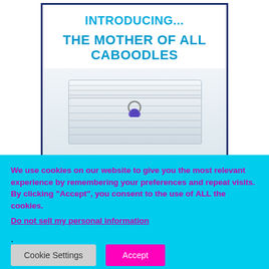[Figure (illustration): Advertisement box with dark blue border showing text 'INTRODUCING... THE MOTHER OF ALL CABOODLES' in bold cyan/blue text on white background, with a photo below of a white storage cabinet/box with a purple heart-shaped handle]
We use cookies on our website to give you the most relevant experience by remembering your preferences and repeat visits. By clicking “Accept”, you consent to the use of ALL the cookies.
Do not sell my personal information.
Cookie Settings
Accept